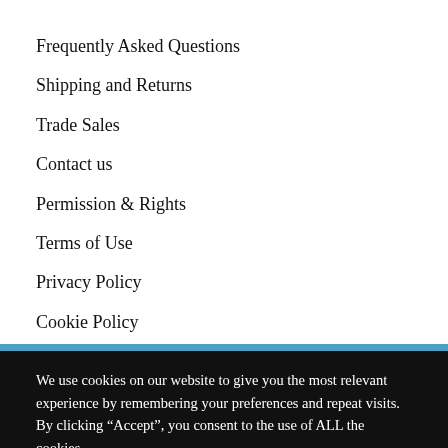Frequently Asked Questions
Shipping and Returns
Trade Sales
Contact us
Permission & Rights
Terms of Use
Privacy Policy
Cookie Policy
We use cookies on our website to give you the most relevant experience by remembering your preferences and repeat visits. By clicking “Accept”, you consent to the use of ALL the cookies.
Cookie settings   ACCEPT